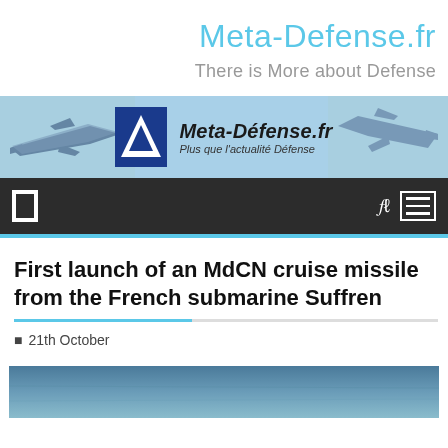Meta-Defense.fr
There is More about Defense
[Figure (logo): Meta-Défense.fr banner with two fighter jets on a light blue background and a blue triangle logo in the center. Text reads: Meta-Défense.fr, Plus que l'actualité Défense]
[Figure (screenshot): Dark grey navigation bar with a rectangle icon on the left, and a search icon and hamburger menu icon on the right]
First launch of an MdCN cruise missile from the French submarine Suffren
21th October
[Figure (photo): Top portion of a photo showing a grey sea or water surface — bottom of page]